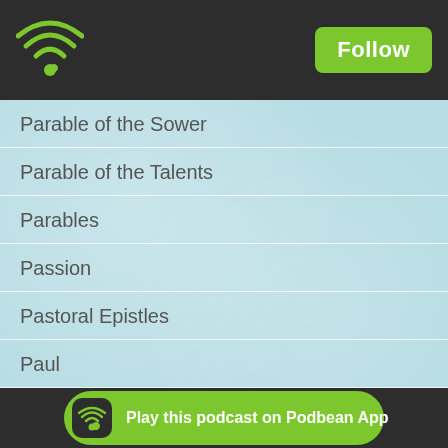Podbean app header with wifi icon and Follow button
Parable of the Sower
Parable of the Talents
Parables
Passion
Pastoral Epistles
Paul
Peace
Pentecost
Practice
Prayer
Prodigal Son
Psalms
Rabbi Ku...
Play this podcast on Podbean App